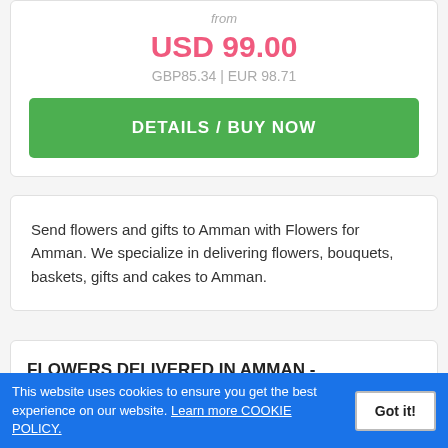from
USD 99.00
GBP85.34 | EUR 98.71
DETAILS / BUY NOW
Send flowers and gifts to Amman with Flowers for Amman. We specialize in delivering flowers, bouquets, baskets, gifts and cakes to Amman.
FLOWERS DELIVERED IN AMMAN - FLORIST IN AMMAN OFFERING SAME
This website uses cookies to ensure you get the best experience on our website. Learn more COOKIE POLICY.
Got it!